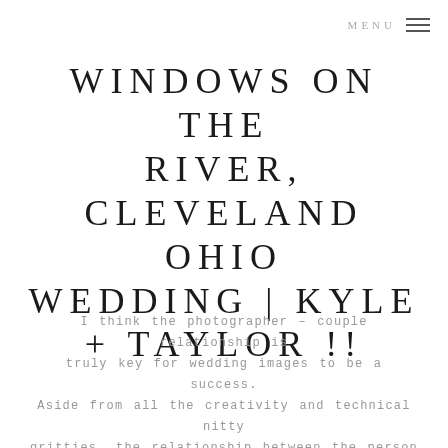MENU ≡
WINDOWS ON THE RIVER, CLEVELAND OHIO WEDDING | KYLE + TAYLOR !!
I think the photographer – couple relationship is truly key for wedding images to be a success. Aside from all the creativity and technical nitty gritties, the relationship between the person behind the camera and the people in front of it, is important.